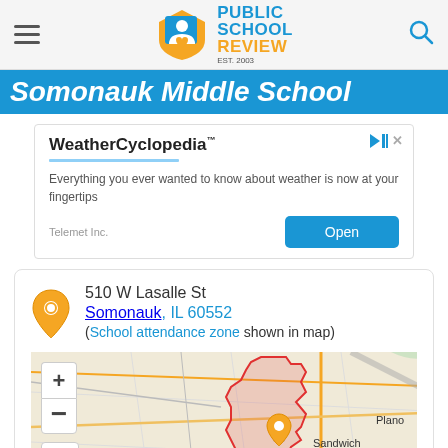Public School Review — EST. 2003
Somonauk Middle School
[Figure (screenshot): WeatherCyclopedia advertisement banner with Open button]
510 W Lasalle St
Somonauk, IL 60552
(School attendance zone shown in map)
[Figure (map): Map showing Somonauk Middle School attendance zone boundary in red, with surrounding area including Sandwich, Plano, Yorkville, Leland, Earlville, and Ken- visible. Map has + and - zoom controls and expand icon.]